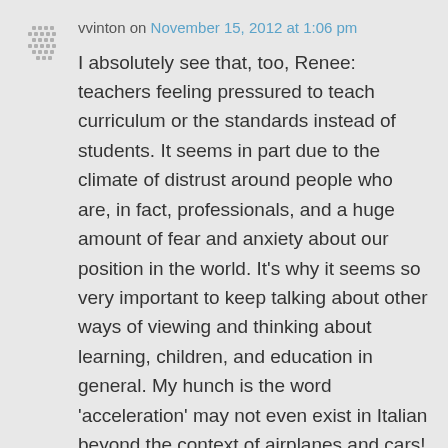[Figure (other): Small pixelated/dotted avatar icon in gray tones]
vvinton on November 15, 2012 at 1:06 pm
I absolutely see that, too, Renee: teachers feeling pressured to teach curriculum or the standards instead of students. It seems in part due to the climate of distrust around people who are, in fact, professionals, and a huge amount of fear and anxiety about our position in the world. It's why it seems so very important to keep talking about other ways of viewing and thinking about learning, children, and education in general. My hunch is the word 'acceleration' may not even exist in Italian beyond the context of airplanes and cars!
↳ Reply